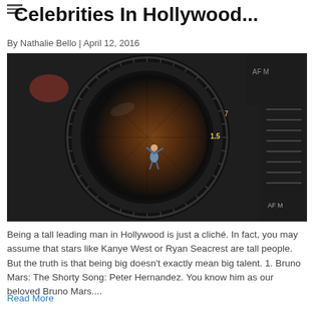Celebrities In Hollywood...
By Nathalie Bello | April 12, 2016
[Figure (photo): A tiny miniature figurine of a person standing inside the lens of a large black DSLR camera, viewed from the front.]
Being a tall leading man in Hollywood is just a cliché. In fact, you may assume that stars like Kanye West or Ryan Seacrest are tall people. But the truth is that being big doesn't exactly mean big talent. 1. Bruno Mars: The Shorty Song: Peter Hernandez. You know him as our beloved Bruno Mars....
Read More